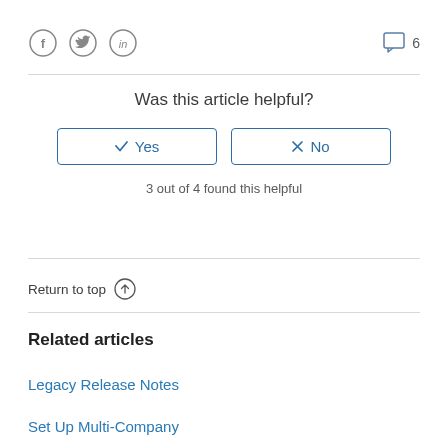[Figure (infographic): Social media share icons: Facebook, Twitter, LinkedIn circles, and a comment bubble icon with the number 6]
Was this article helpful?
Yes  No
3 out of 4 found this helpful
Return to top ↑
Related articles
Legacy Release Notes
Set Up Multi-Company